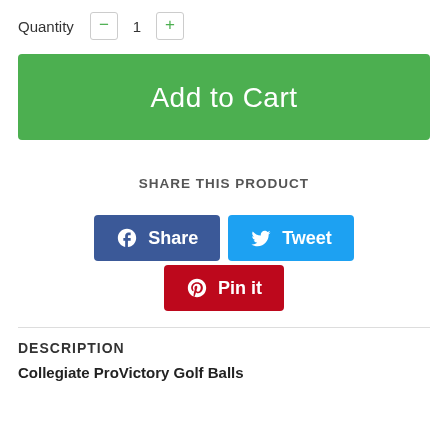Quantity  -  1  +
Add to Cart
SHARE THIS PRODUCT
[Figure (other): Social sharing buttons: Facebook Share (blue), Twitter Tweet (light blue), Pinterest Pin it (red)]
DESCRIPTION
Collegiate ProVictory Golf Balls